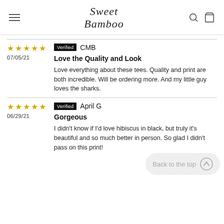Sweet Bamboo
★★★★★ 07/05/21 | Verified CMB | Love the Quality and Look | Love everything about these tees. Quality and print are both incredible. Will be ordering more. And my little guy loves the sharks.
★★★★★ 06/29/21 | Verified April G | Gorgeous | I didn't know if I'd love hibiscus in black, but truly it's beautiful and so much better in person. So glad I didn't pass on this print!